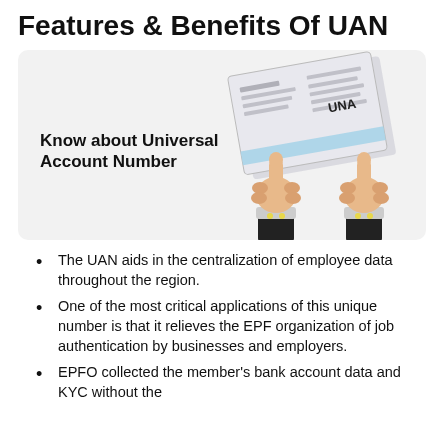Features & Benefits Of UAN
[Figure (illustration): Illustration of two hands holding a document/card labeled 'UNA', with text 'Know about Universal Account Number' on the left side, on a light gray background.]
The UAN aids in the centralization of employee data throughout the region.
One of the most critical applications of this unique number is that it relieves the EPF organization of job authentication by businesses and employers.
EPFO collected the member's bank account data and KYC without the